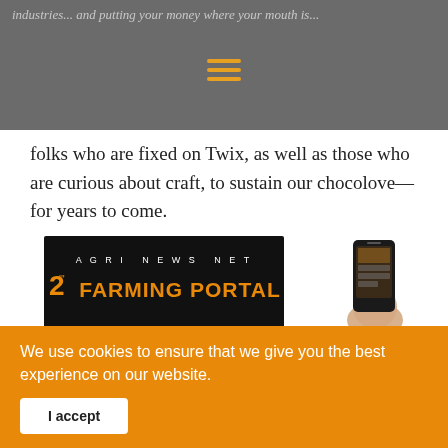industries... and putting your money where your mouth is...
folks who are fixed on Twix, as well as those who are curious about craft, to sustain our chocolove—for years to come.
[Figure (logo): Agri News Net Farming Portal banner logo with orange text on black background, alongside a smartphone image and Era logo on the right]
Our News Team select the best video according to the content of this article. In some cases a video is supplied- video link not guarenteed.
We use cookies to ensure that we give you the best experience on our website.